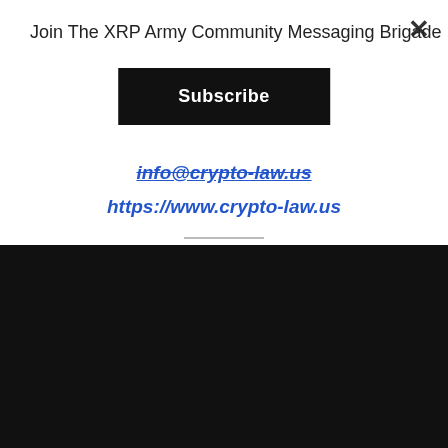Join The XRP Army Community Messaging Brigade
Subscribe
info@crypto-law.us
https://www.crypto-law.us
[Figure (logo): Joe Rogan website logo text in typewriter-style font on dark background with hamburger menu icon]
FOR PODCAST GUEST BOOKER MATT STAGGS:
FOR SPONSORSHIP OR OTHER INQUIRIES: